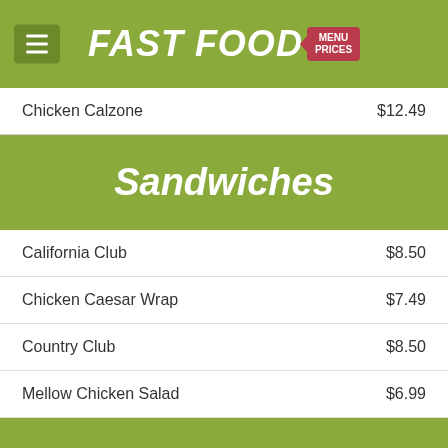FAST FOOD MENU PRICES
| Item | Price |
| --- | --- |
| Chicken Calzone | $12.49 |
| California Club | $8.50 |
| Chicken Caesar Wrap | $7.49 |
| Country Club | $8.50 |
| Mellow Chicken Salad | $6.99 |
Sandwiches
Hoagies
| Item | Size | Price |
| --- | --- | --- |
| Steak & Cheese Hoagie | Half | $7.49 |
| Steak & Cheese Hoagie | Whole | $11.49 |